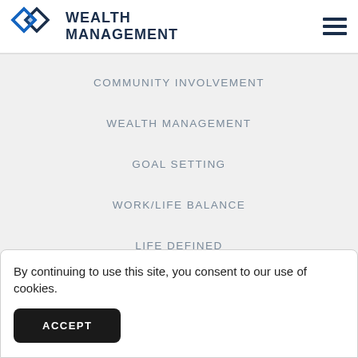Wealth Management
COMMUNITY INVOLVEMENT
WEALTH MANAGEMENT
GOAL SETTING
WORK/LIFE BALANCE
LIFE DEFINED
By continuing to use this site, you consent to our use of cookies.